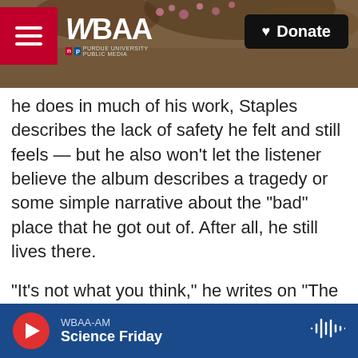[Figure (screenshot): WBAA NPR radio website header with navigation menu button, WBAA logo, and Donate button over a blurred tree/nature background photo]
he does in much of his work, Staples describes the lack of safety he felt and still feels — but he also won't let the listener believe the album describes a tragedy or some simple narrative about the "bad" place that he got out of. After all, he still lives there.
"It's not what you think," he writes on "The Shining." "I could be gone in a blink / I don't want to leave."
"A lot of the time, we watch these movies and we listen to these songs and see all these other things on [the] news, and we think that you're walking into a war zone when you walk into these communities
WBAA-AM  Science Friday